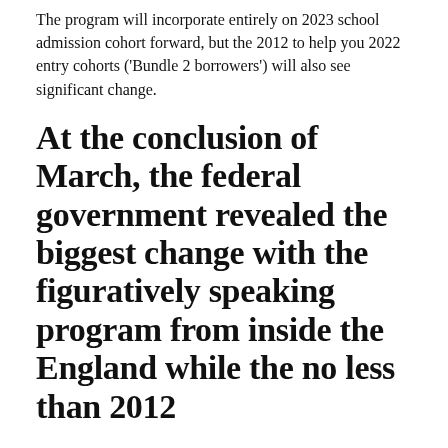The program will incorporate entirely on 2023 school admission cohort forward, but the 2012 to help you 2022 entry cohorts ('Bundle 2 borrowers') will also see significant change.
At the conclusion of March, the federal government revealed the biggest change with the figuratively speaking program from inside the England while the no less than 2012
The fresh launched change package often